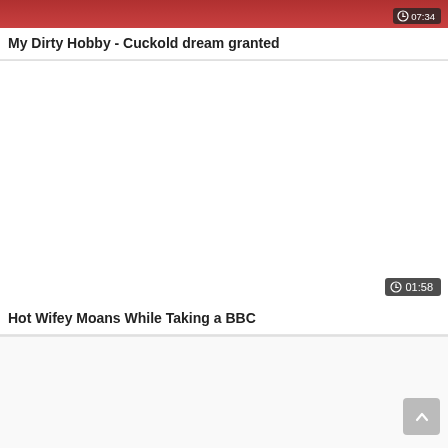[Figure (screenshot): Top portion of a video thumbnail with red background, partially cropped]
My Dirty Hobby - Cuckold dream granted
[Figure (screenshot): Blank white video thumbnail area with duration badge showing 01:58]
Hot Wifey Moans While Taking a BBC
[Figure (screenshot): Bottom partial video card area with scroll-to-top button]